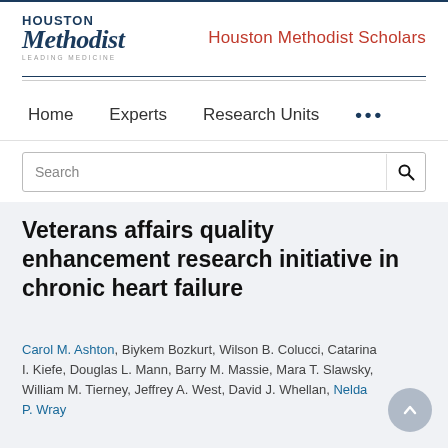Houston Methodist | Houston Methodist Scholars
Home   Experts   Research Units   ...
Search
Veterans affairs quality enhancement research initiative in chronic heart failure
Carol M. Ashton, Biykem Bozkurt, Wilson B. Colucci, Catarina I. Kiefe, Douglas L. Mann, Barry M. Massie, Mara T. Slawsky, William M. Tierney, Jeffrey A. West, David J. Whellan, Nelda P. Wray